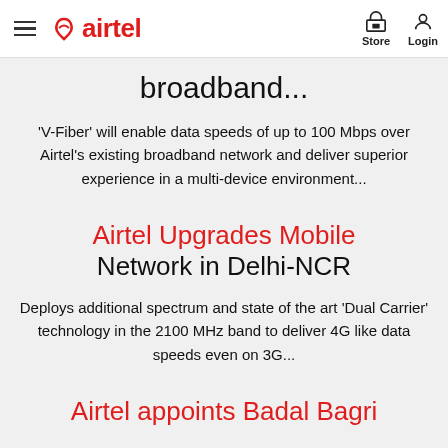airtel | Store | Login
broadband...
'V-Fiber' will enable data speeds of up to 100 Mbps over Airtel's existing broadband network and deliver superior experience in a multi-device environment...
Airtel Upgrades Mobile Network in Delhi-NCR
Deploys additional spectrum and state of the art 'Dual Carrier' technology in the 2100 MHz band to deliver 4G like data speeds even on 3G...
Airtel appoints Badal Bagri